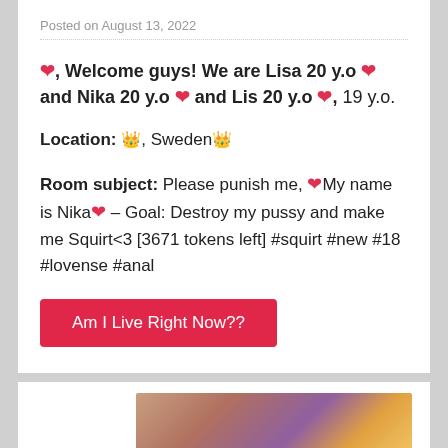Posted on August 13, 2022
❤️, Welcome guys! We are Lisa 20 y.o ❤️ and Nika 20 y.o ❤️ and Lis 20 y.o ❤️, 19 y.o.
Location: 👑, Sweden👑
Room subject: Please punish me, ❤️My name is Nika❤️ – Goal: Destroy my pussy and make me Squirt<3 [3671 tokens left] #squirt #new #18 #lovense #anal
Am I Live Right Now??
[Figure (photo): Blurred background photo showing warm bokeh lights in orange and purple tones]